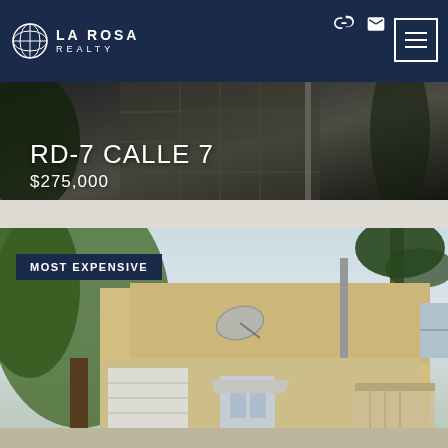LA ROSA REALTY
[Figure (photo): Property photo of RD-7 CALLE 7, showing an outdoor tiled pathway or driveway viewed from a downward angle, dark tones]
RD-7 CALLE 7
$275,000
[Figure (photo): Property photo labeled MOST EXPENSIVE, showing a beige/tan two-story house exterior with palm trees, windows with shutters, and a satellite dish on the roof]